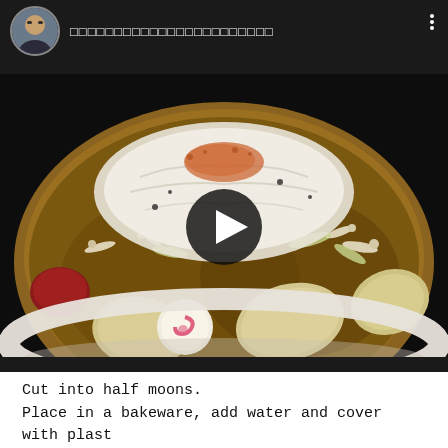ไทยไทยไทยไทยไทยไทยไทยไทยไทยไทย
[Figure (photo): A bowl of Japanese/Asian soup or stew with daikon radish, fish cake (narutomaki), bean sprouts, green onions, and broth. A video play button overlay is centered on the image.]
Cut into half moons.
Place in a bakeware, add water and cover with plastic wrap.
Heat in the microwave at 600W for 6-7 minutes.